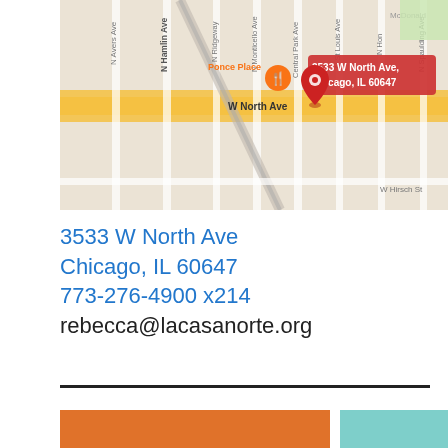[Figure (map): Google Maps screenshot showing location at 3533 W North Ave, Chicago, IL 60647. Map shows W North Ave as a main highlighted street with surrounding streets including N Avers Ave, N Hamlin Ave, N Ridgeway, N Monticello Ave, Central Park Ave, N St Louis Ave, N Spaulding Ave. A red location pin marks the address. Ponce Place restaurant marker also visible.]
3533 W North Ave
Chicago, IL 60647
773-276-4900 x214
rebecca@lacasanorte.org